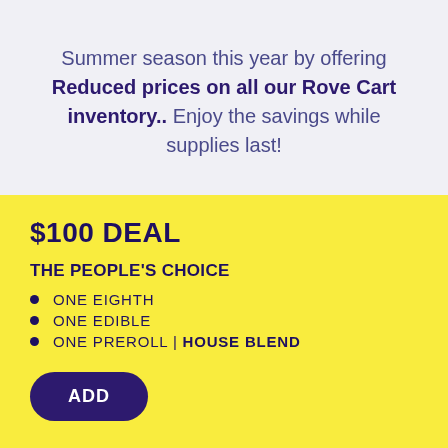Summer season this year by offering Reduced prices on all our Rove Cart inventory.. Enjoy the savings while supplies last!
$100 DEAL
THE PEOPLE'S CHOICE
ONE EIGHTH
ONE EDIBLE
ONE PREROLL | HOUSE BLEND